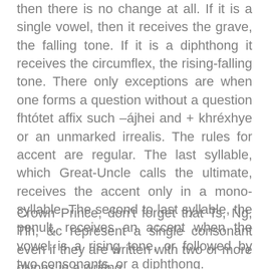then there is no change at all. If it is a single vowel, then it receives the grave, the falling tone. If it is a diphthong it receives the circumflex, the rising-falling tone. There only exceptions are when one forms a question without a question fhtótet affix such –ájhei and + khréxhye or an unmarked irrealis. The rules for accent are regular. The last syllable, which Great-Uncle calls the ultimate, receives the accent only in a mono-syllable. The second to last syllable, the penult, receives an accent when the vowel is a rising tone, or followed by two consonants, or a diphthong.
Crown Prince, don't forget that Ts, Ng, Tlh, &c represent a single consonant even if they are written with two or more glyphs in a writing